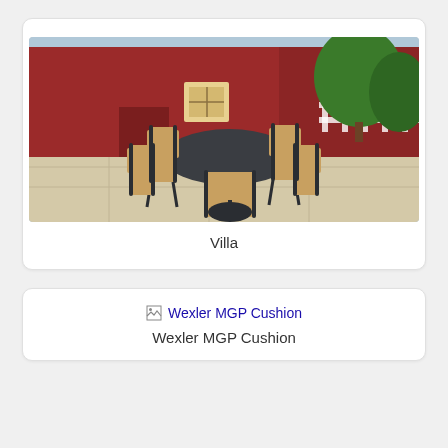[Figure (photo): Outdoor patio dining set with dark metal frame, six sling chairs with tan/beige fabric backs, and an oval dark table on a stone patio, with a red barn building and green trees in the background.]
Villa
[Figure (photo): Broken image placeholder with text 'Wexler MGP Cushion' shown as an image link]
Wexler MGP Cushion